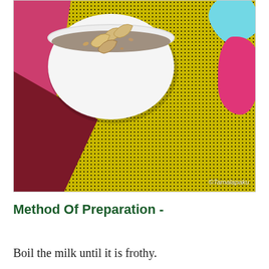[Figure (photo): A white bowl filled with a grayish-brown porridge or kheer dessert topped with cashew nuts, placed on a yellow dotted/textured textile mat. Pink cloth and colorful paper flowers (teal and pink) are visible in the background. Watermark reads '@Tamalapaku' in bottom right.]
Method Of Preparation -
Boil the milk until it is frothy.